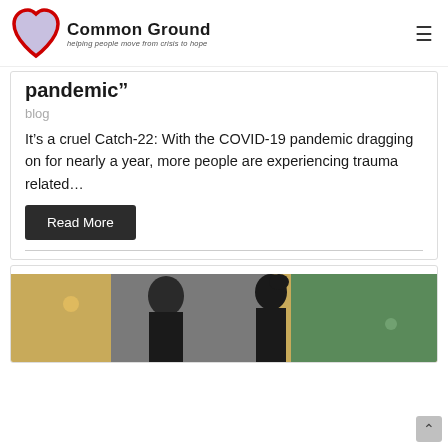Common Ground — helping people move from crisis to hope
pandemic”
blog
It’s a cruel Catch-22: With the COVID-19 pandemic dragging on for nearly a year, more people are experiencing trauma related…
Read More
[Figure (photo): Photo of two people, one bald person and one with dark hair in an updo, facing each other in an urban outdoor setting]